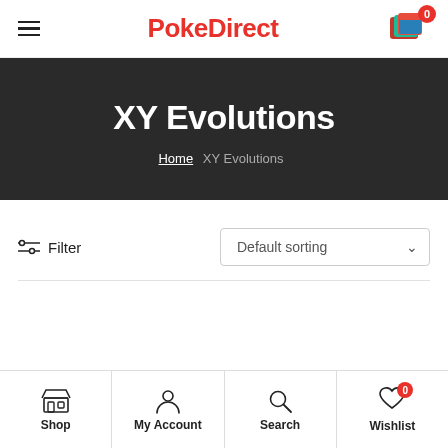PokeDirect
XY Evolutions
Home / XY Evolutions
Filter
Default sorting
Shop | My Account | Search | Wishlist